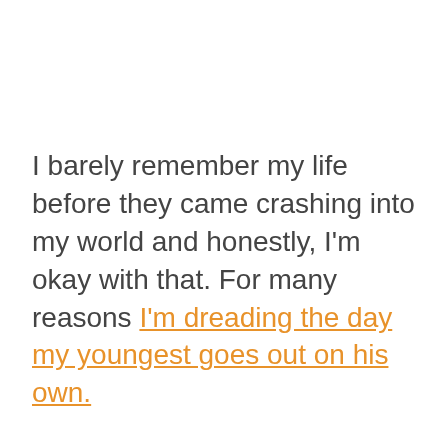I barely remember my life before they came crashing into my world and honestly, I'm okay with that. For many reasons I'm dreading the day my youngest goes out on his own.